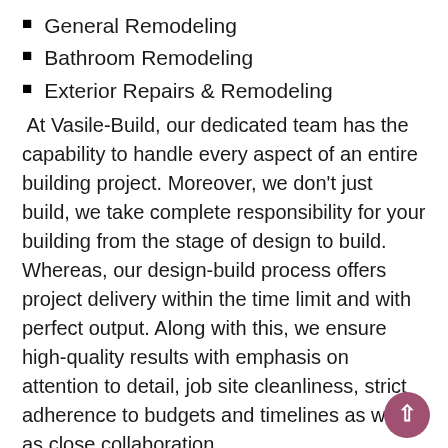General Remodeling
Bathroom Remodeling
Exterior Repairs & Remodeling
At Vasile-Build, our dedicated team has the capability to handle every aspect of an entire building project. Moreover, we don't just build, we take complete responsibility for your building from the stage of design to build. Whereas, our design-build process offers project delivery within the time limit and with perfect output. Along with this, we ensure high-quality results with emphasis on attention to detail, job site cleanliness, strict adherence to budgets and timelines as well as close collaboration.
If you wish to demolish your old house and build a new home od your dreams on the same site, Versile-Build offers you everything you want within your budget and low interest. Also, you don't need to shift to a new place our demolish and build option is a fabulous option to stay where you are. So, what are